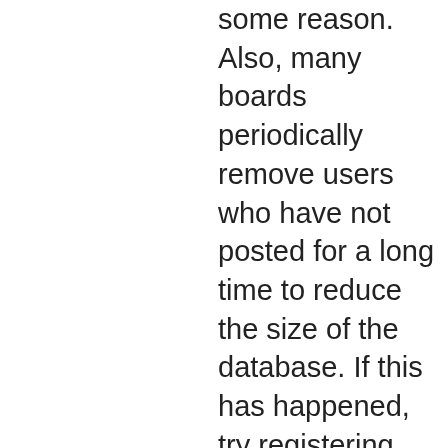some reason. Also, many boards periodically remove users who have not posted for a long time to reduce the size of the database. If this has happened, try registering again and being more involved in discussions.
Top
What is COPPA?
COPPA, or the Child Online Privacy and Protection Act of
[Figure (screenshot): Advertisement for Petco showing logo, checkmarks for In-store shopping and Curbside pickup, and a blue direction sign icon]